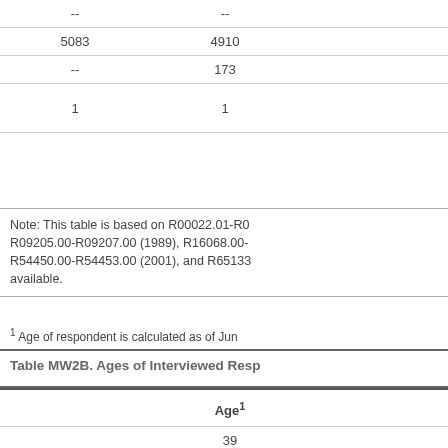|  |  |  |  |
| --- | --- | --- | --- |
| 74 | -- | -- |  |
| Total Int'd | 5083 | 4910 |  |
| Not Int'd | -- | 173 |  |
| Birth Year n/a | 1 | 1 |  |
Note: This table is based on R00022.01-R0... R09205.00-R09207.00 (1989), R16068.00-... R54450.00-R54453.00 (2001), and R65133... available.
1 Age of respondent is calculated as of Jun...
Table MW2B. Ages of Interviewed Resp...
| Age1 | 82 | 84 | 86 |
| --- | --- | --- | --- |
| 39 | 1 | -- | -- |
| 40 | -- | -- | -- |
| 41 | 1 | 1 | -- |
| 42 | 1 | -- | -- |
| 43 | 1 | 1 | 2 |